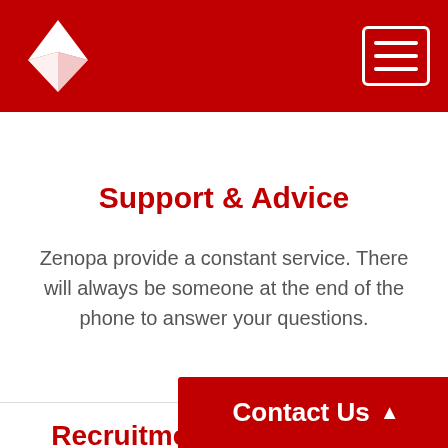[Figure (logo): Zenopa company logo - white triangular arrow/compass shape on dark red background header]
Support & Advice
Zenopa provide a constant service. There will always be someone at the end of the phone to answer your questions.
Recruitment with Integrity
We will always provide professional advice and fully understand
[Figure (other): Contact Us button with upward triangle arrow in dark red]